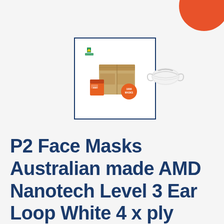[Figure (photo): Product image of AMD Nanotech P2 face masks — a cardboard box with orange product packaging and '1000 MASKS' orange circle badge, with Australian made logo in top left. Bordered by dark blue rectangle.]
[Figure (photo): Single white P2 face mask (KN95/P2 style) shown from the side on light grey background.]
P2 Face Masks Australian made AMD Nanotech Level 3 Ear Loop White 4 x ply